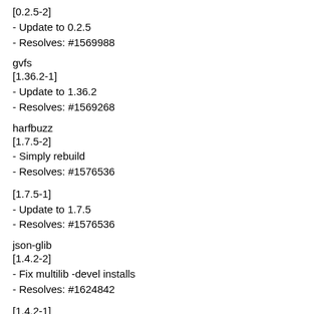[0.2.5-2]
- Update to 0.2.5
- Resolves: #1569988
gvfs
[1.36.2-1]
- Update to 1.36.2
- Resolves: #1569268
harfbuzz
[1.7.5-2]
- Simply rebuild
- Resolves: #1576536
[1.7.5-1]
- Update to 1.7.5
- Resolves: #1576536
json-glib
[1.4.2-2]
- Fix multilib -devel installs
- Resolves: #1624842
[1.4.2-1]
- Update to 1.4.2
- Resolves: #1568384